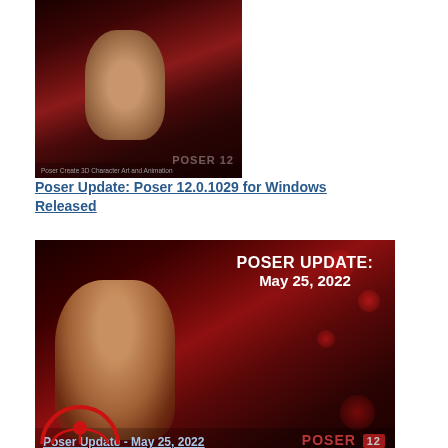[Figure (photo): Poser 12 promotional image showing a 3D female character in dark red tones with bokeh background]
Poser Update: Poser 12.0.1029 for Windows Released
[Figure (photo): Poser Update thumbnail image with text 'POSER UPDATE: May 25, 2022' and 3D female character on dark red background with Poser 12 logo]
Poser Update - May 25, 2022
[Figure (logo): Poser software circular logo (partially visible at bottom)]